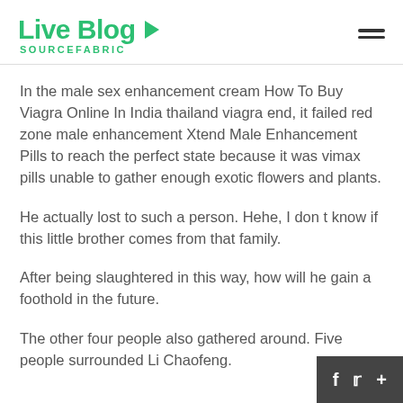Live Blog SOURCEFABRIC
In the male sex enhancement cream How To Buy Viagra Online In India thailand viagra end, it failed red zone male enhancement Xtend Male Enhancement Pills to reach the perfect state because it was vimax pills unable to gather enough exotic flowers and plants.
He actually lost to such a person. Hehe, I don t know if this little brother comes from that family.
After being slaughtered in this way, how will he gain a foothold in the future.
The other four people also gathered around. Five people surrounded Li Chaofeng.